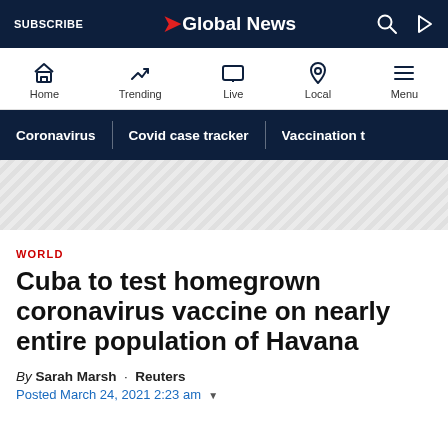SUBSCRIBE  Global News
Home  Trending  Live  Local  Menu
Coronavirus  Covid case tracker  Vaccination t
[Figure (other): Diagonal striped advertisement/placeholder area]
WORLD
Cuba to test homegrown coronavirus vaccine on nearly entire population of Havana
By Sarah Marsh · Reuters
Posted March 24, 2021 2:23 am